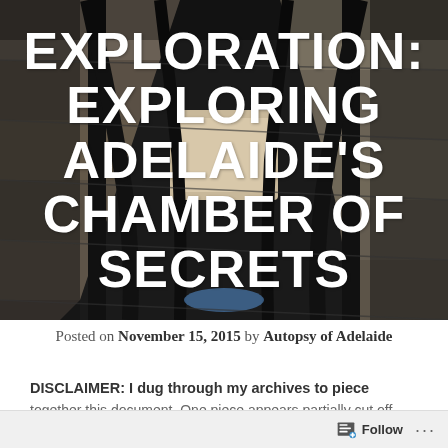[Figure (photo): Looking down a spiral stairwell with black metal railings and stone/concrete steps, dark atmospheric photo]
EXPLORATION: EXPLORING ADELAIDE'S CHAMBER OF SECRETS
Posted on November 15, 2015 by Autopsy of Adelaide
DISCLAIMER: I dug through my archives to piece together this document. One piece appears partially cut off.